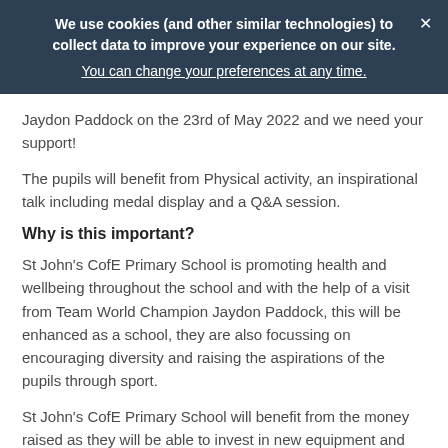We use cookies (and other similar technologies) to collect data to improve your experience on our site. You can change your preferences at any time.
Jaydon Paddock on the 23rd of May 2022 and we need your support!
The pupils will benefit from Physical activity, an inspirational talk including medal display and a Q&A session.
Why is this important?
St John's CofE Primary School is promoting health and wellbeing throughout the school and with the help of a visit from Team World Champion Jaydon Paddock, this will be enhanced as a school, they are also focussing on encouraging diversity and raising the aspirations of the pupils through sport.
St John's CofE Primary School will benefit from the money raised as they will be able to invest in new equipment and